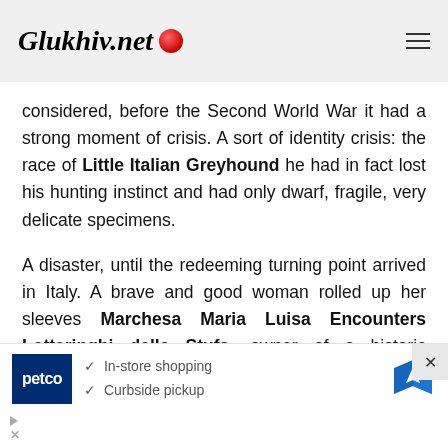Glukhiv.net
considered, before the Second World War it had a strong moment of crisis. A sort of identity crisis: the race of Little Italian Greyhound he had in fact lost his hunting instinct and had only dwarf, fragile, very delicate specimens.
A disaster, until the redeeming turning point arrived in Italy. A brave and good woman rolled up her sleeves Marchesa Maria Luisa Encounters Lotteringhi della Stufa, owner of a historic breeding,
[Figure (other): Advertisement banner for Petco showing in-store shopping and curbside pickup options with a map navigation icon]